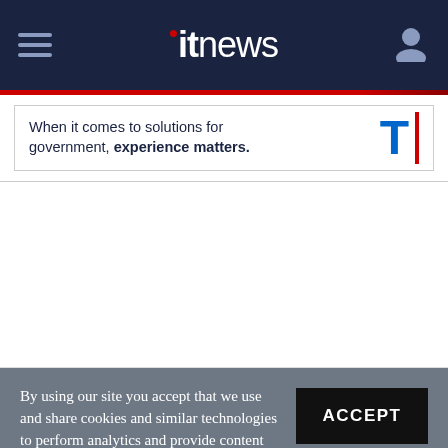itnews
[Figure (logo): Telstra advertisement banner: 'When it comes to solutions for government, experience matters.' with Telstra T logo and red vertical bar]
By using our site you accept that we use and share cookies and similar technologies to perform analytics and provide content and ads tailored to your interests. By continuing to use our site, you consent to this. Please see our Cookie Policy for more information.